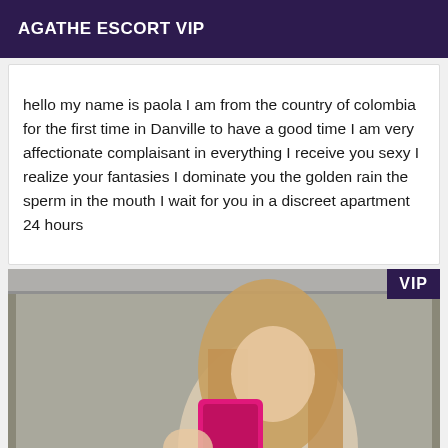AGATHE ESCORT VIP
hello my name is paola I am from the country of colombia for the first time in Danville to have a good time I am very affectionate complaisant in everything I receive you sexy I realize your fantasies I dominate you the golden rain the sperm in the mouth I wait for you in a discreet apartment 24 hours
[Figure (photo): Woman taking a mirror selfie with a pink phone, blonde hair, wearing white top, with a VIP badge overlay in the top right corner]